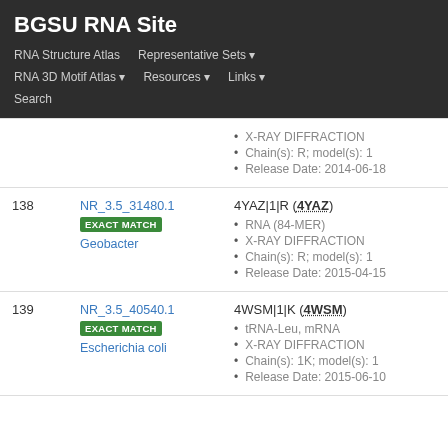BGSU RNA Site — RNA Structure Atlas | Representative Sets | RNA 3D Motif Atlas | Resources | Links | Search
| # | ID / Match | Entry Info |
| --- | --- | --- |
|  |  | • X-RAY DIFFRACTION
• Chain(s): R; model(s): 1
• Release Date: 2014-06-18 |
| 138 | NR_3.5_31480.1
EXACT MATCH
Geobacter | 4YAZ|1|R (4YAZ)
• RNA (84-MER)
• X-RAY DIFFRACTION
• Chain(s): R; model(s): 1
• Release Date: 2015-04-15 |
| 139 | NR_3.5_40540.1
EXACT MATCH
Escherichia coli | 4WSM|1|K (4WSM)
• tRNA-Leu, mRNA
• X-RAY DIFFRACTION
• Chain(s): 1K; model(s): 1
• Release Date: 2015-06-10 |